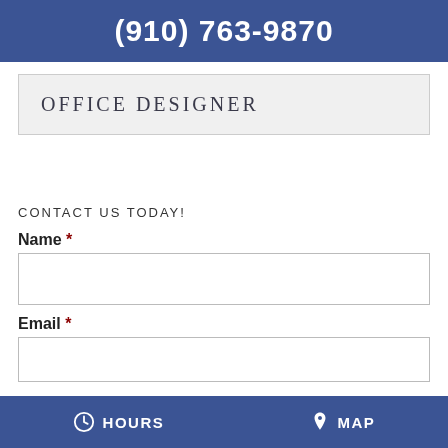(910) 763-9870
OFFICE DESIGNER
CONTACT US TODAY!
Name *
Email *
HOURS   MAP